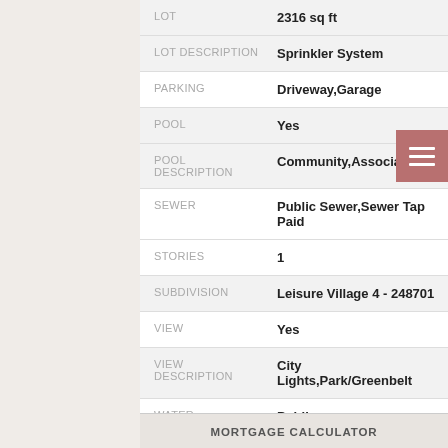| Field | Value |
| --- | --- |
| LOT | 2316 sq ft |
| LOT DESCRIPTION | Sprinkler System |
| PARKING | Driveway,Garage |
| POOL | Yes |
| POOL DESCRIPTION | Community,Association |
| SEWER | Public Sewer,Sewer Tap Paid |
| STORIES | 1 |
| SUBDIVISION | Leisure Village 4 - 248701 |
| VIEW | Yes |
| VIEW DESCRIPTION | City Lights,Park/Greenbelt |
| WATER | Public |
MORTGAGE CALCULATOR